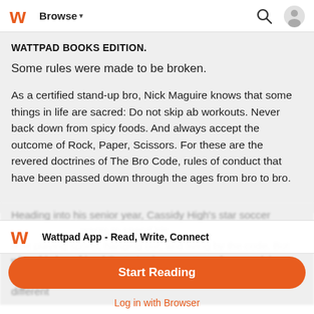Browse
WATTPAD BOOKS EDITION.
Some rules were made to be broken.
As a certified stand-up bro, Nick Maguire knows that some things in life are sacred: Do not skip ab workouts. Never back down from spicy foods. And always accept the outcome of Rock, Paper, Scissors. For these are the revered doctrines of The Bro Code, rules of conduct that have been passed down through the ages from bro to bro.
Heading into his senior year, Cassidy High's star soccer player Nick Maguire wants to spend his time playing sports, hanging out, and living by the code. But when his best friend Carter's sister returns from studying overseas, she makes things... different
Wattpad App - Read, Write, Connect
Start Reading
Log in with Browser